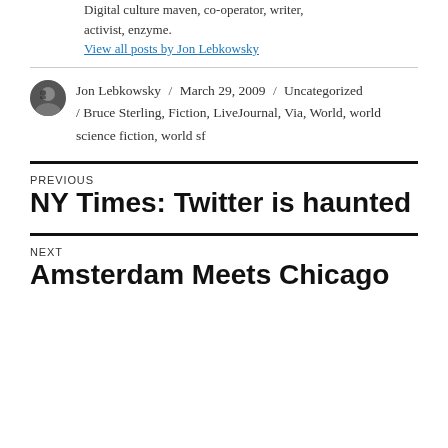Digital culture maven, co-operator, writer, activist, enzyme.
View all posts by Jon Lebkowsky
Jon Lebkowsky / March 29, 2009 / Uncategorized / Bruce Sterling, Fiction, LiveJournal, Via, World, world science fiction, world sf
PREVIOUS
NY Times: Twitter is haunted
NEXT
Amsterdam Meets Chicago